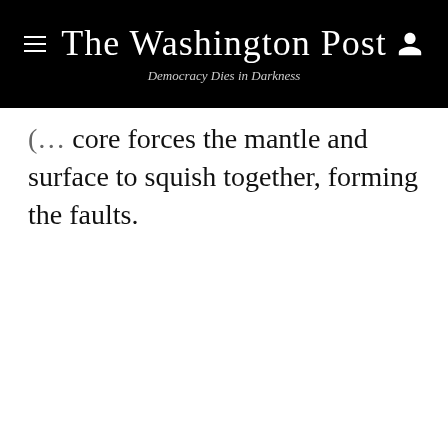The Washington Post — Democracy Dies in Darkness
core forces the mantle and surface to squish together, forming the faults.